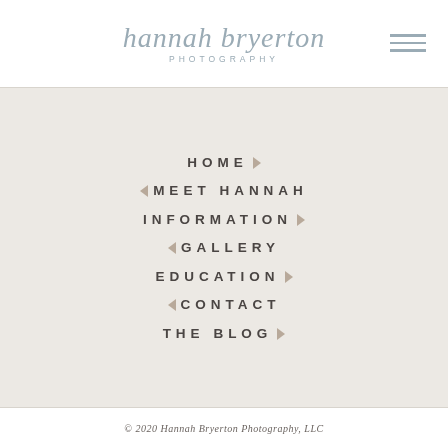hannah bryerton PHOTOGRAPHY
HOME
MEET HANNAH
INFORMATION
GALLERY
EDUCATION
CONTACT
THE BLOG
© 2020 Hannah Bryerton Photography, LLC